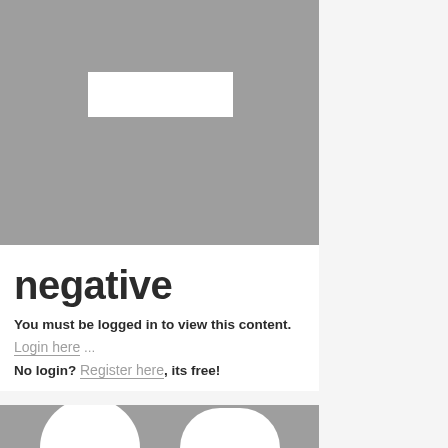[Figure (other): Gray placeholder image with a white rectangle in the center, representing blurred/hidden content]
negative
You must be logged in to view this content.
Login here ...
No login? Register here, its free!
[Figure (other): Gray placeholder image with two white arch shapes at the bottom, representing blurred/hidden content]